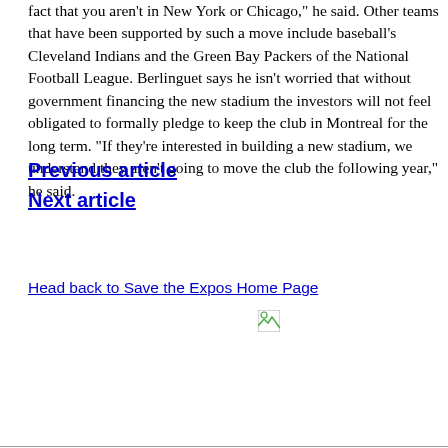fact that you aren't in New York or Chicago," he said. Other teams that have been supported by such a move include baseball's Cleveland Indians and the Green Bay Packers of the National Football League. Berlinguet says he isn't worried that without government financing the new stadium the investors will not feel obligated to formally pledge to keep the club in Montreal for the long term. "If they're interested in building a new stadium, we understand they aren't going to move the club the following year," he said.
Previous article
Next article
Head back to Save the Expos Home Page
[Figure (other): Small broken image icon]